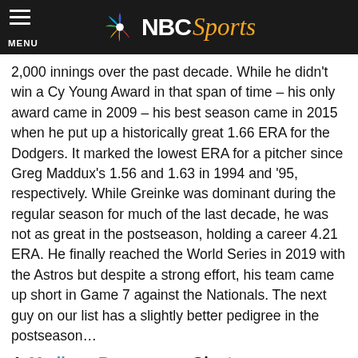NBC Sports
2,000 innings over the past decade. While he didn't win a Cy Young Award in that span of time – his only award came in 2009 – his best season came in 2015 when he put up a historically great 1.66 ERA for the Dodgers. It marked the lowest ERA for a pitcher since Greg Maddux's 1.56 and 1.63 in 1994 and '95, respectively. While Greinke was dominant during the regular season for much of the last decade, he was not as great in the postseason, holding a career 4.21 ERA. He finally reached the World Series in 2019 with the Astros but despite a strong effort, his team came up short in Game 7 against the Nationals. The next guy on our list has a slightly better pedigree in the postseason…
4. Madison Bumgarner, Giants
Among qualified starters, Bumgarner's 3.14 ERA for the